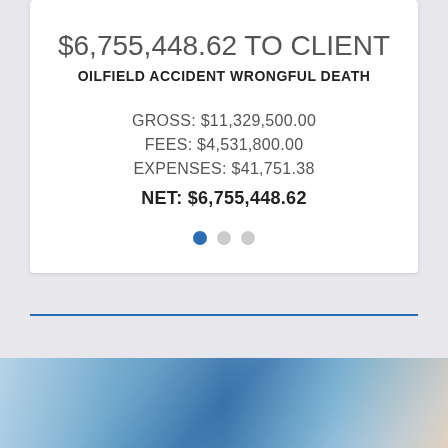$6,755,448.62 TO CLIENT
OILFIELD ACCIDENT WRONGFUL DEATH
GROSS: $11,329,500.00
FEES: $4,531,800.00
EXPENSES: $41,751.38
NET: $6,755,448.62
[Figure (other): Carousel pagination dots: one filled blue dot and two gray dots indicating slide position]